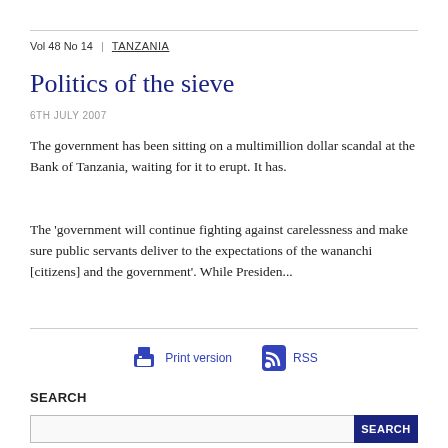Vol 48 No 14 | TANZANIA
Politics of the sieve
6TH JULY 2007
The government has been sitting on a multimillion dollar scandal at the Bank of Tanzania, waiting for it to erupt. It has.
The 'government will continue fighting against carelessness and make sure public servants deliver to the expectations of the wananchi [citizens] and the government'. While Presiden...
SEARCH